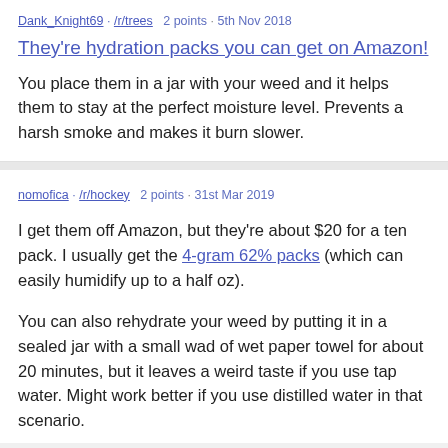Dank_Knight69 · /r/trees  2 points · 5th Nov 2018
They're hydration packs you can get on Amazon!
You place them in a jar with your weed and it helps them to stay at the perfect moisture level. Prevents a harsh smoke and makes it burn slower.
nomofica · /r/hockey  2 points · 31st Mar 2019
I get them off Amazon, but they're about $20 for a ten pack. I usually get the 4-gram 62% packs (which can easily humidify up to a half oz).
You can also rehydrate your weed by putting it in a sealed jar with a small wad of wet paper towel for about 20 minutes, but it leaves a weird taste if you use tap water. Might work better if you use distilled water in that scenario.